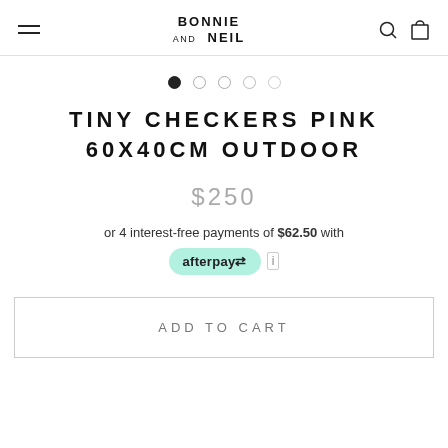BONNIE AND NEIL
TINY CHECKERS PINK 60X40CM OUTDOOR
$250
or 4 interest-free payments of $62.50 with afterpay
ADD TO CART